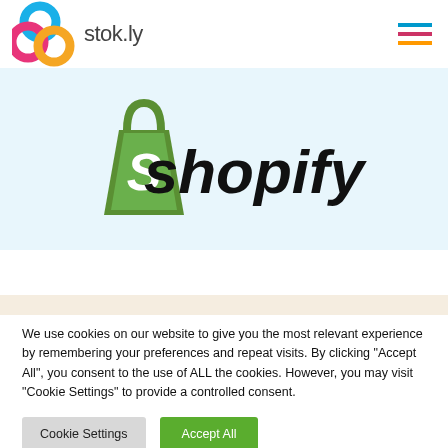stok.ly
[Figure (logo): Shopify logo with green bag icon and italic 'shopity' text on light blue background]
We use cookies on our website to give you the most relevant experience by remembering your preferences and repeat visits. By clicking "Accept All", you consent to the use of ALL the cookies. However, you may visit "Cookie Settings" to provide a controlled consent.
Cookie Settings  |  Accept All